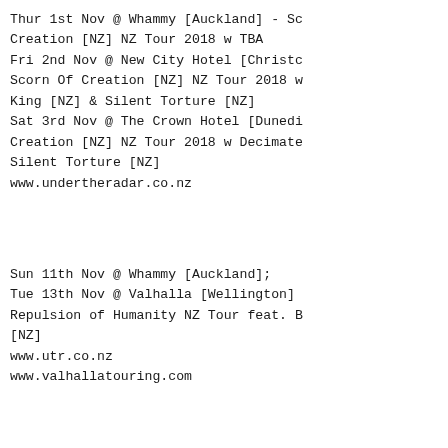Thur 1st Nov @ Whammy [Auckland] - Sc
Creation [NZ] NZ Tour 2018 w TBA
Fri 2nd Nov @ New City Hotel [Christc
Scorn Of Creation [NZ] NZ Tour 2018 w
King [NZ] & Silent Torture [NZ]
Sat 3rd Nov @ The Crown Hotel [Dunedi
Creation [NZ] NZ Tour 2018 w Decimate
Silent Torture [NZ]
www.undertheradar.co.nz
Sun 11th Nov @ Whammy [Auckland];
Tue 13th Nov @ Valhalla [Wellington]
Repulsion of Humanity NZ Tour feat. B
[NZ]
www.utr.co.nz
www.valhallatouring.com